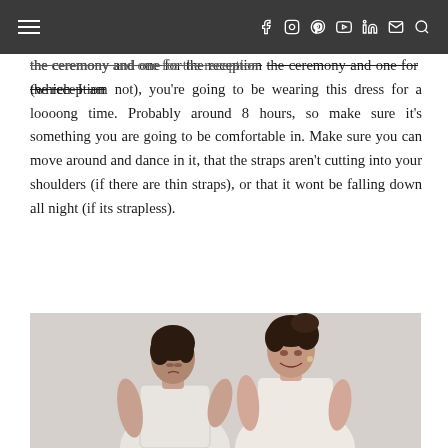Navigation bar with menu and social icons
the ceremony and one for the reception (which I am not), you're going to be wearing this dress for a loooong time. Probably around 8 hours, so make sure it's something you are going to be comfortable in. Make sure you can move around and dance in it, that the straps aren't cutting into your shoulders (if there are thin straps), or that it wont be falling down all night (if its strapless).
[Figure (photo): Two women in white dresses, one helping the other, both with upswept hair, photographed from the side in a light studio setting.]